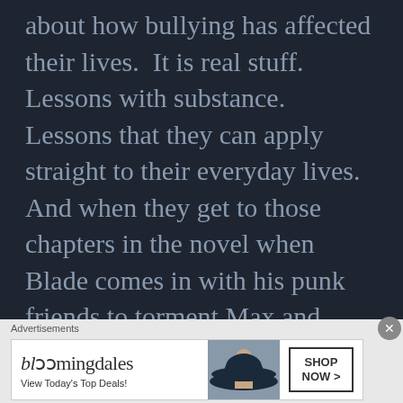about how bullying has affected their lives.  It is real stuff.  Lessons with substance.  Lessons that they can apply straight to their everyday lives.  And when they get to those chapters in the novel when Blade comes in with his punk friends to torment Max and Freak, it will hit home that much more.

Today it gets pretty raw.  I am going to read them a narrative I wrote long
[Figure (other): Bloomingdale's advertisement banner with text 'bloomingdales', 'View Today's Top Deals!', image of woman in wide-brim hat, and 'SHOP NOW >' button]